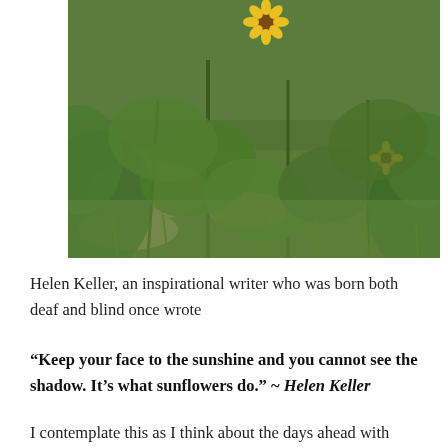[Figure (photo): A garden field with sunflower plants and green leafy vegetation, some sunflowers visible with yellow blooms in background]
Helen Keller, an inspirational writer who was born both deaf and blind once wrote
“Keep your face to the sunshine and you cannot see the shadow. It’s what sunflowers do.” ~ Helen Keller
I contemplate this as I think about the days ahead with